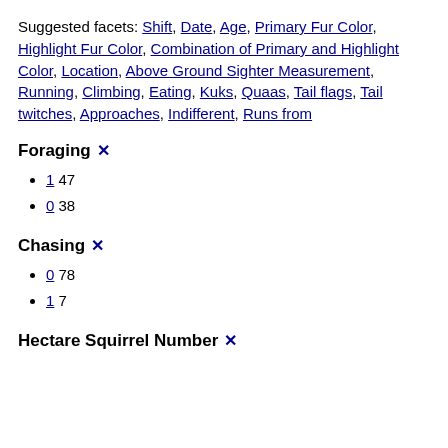Suggested facets: Shift, Date, Age, Primary Fur Color, Highlight Fur Color, Combination of Primary and Highlight Color, Location, Above Ground Sighter Measurement, Running, Climbing, Eating, Kuks, Quaas, Tail flags, Tail twitches, Approaches, Indifferent, Runs from
Foraging ✕
1 47
0 38
Chasing ✕
0 78
1 7
Hectare Squirrel Number ✕